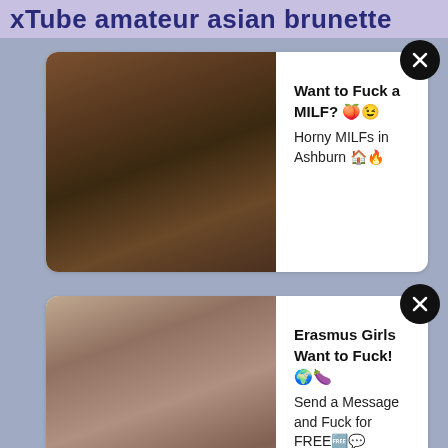xTube amateur asian brunette
[Figure (screenshot): Ad card 1 with photo of woman and text: Want to Fuck a MILF? Horny MILFs in Ashburn]
[Figure (screenshot): Ad card 2 with photo of woman and text: Erasmus Girls Want to Fuck! Send a Message and Fuck for FREE]